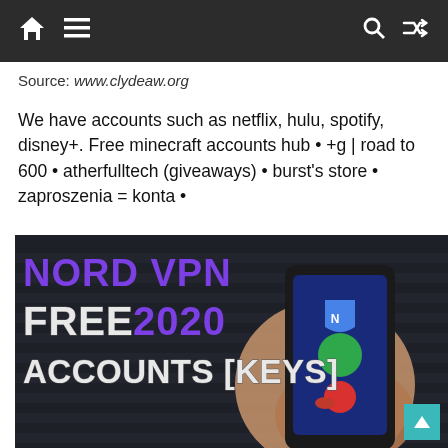Navigation bar with home, menu, search, and shuffle icons
Source: www.clydeaw.org
We have accounts such as netflix, hulu, spotify, disney+. Free minecraft accounts hub • +g | road to 600 • atherfulltech (giveaways) • burst's store • zaproszenia = konta •
[Figure (photo): Promotional image with dark background and person holding a smartphone, overlaid with bold text: NORD VPN FREE 2020 ACCOUNTS [KEYS] in purple and white block letters]